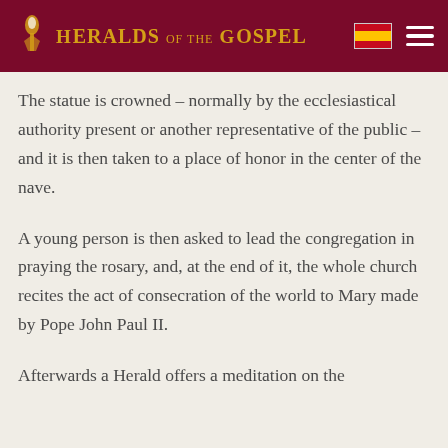Heralds of the Gospel
The statue is crowned – normally by the ecclesiastical authority present or another representative of the public – and it is then taken to a place of honor in the center of the nave.
A young person is then asked to lead the congregation in praying the rosary, and, at the end of it, the whole church recites the act of consecration of the world to Mary made by Pope John Paul II.
Afterwards a Herald offers a meditation on the